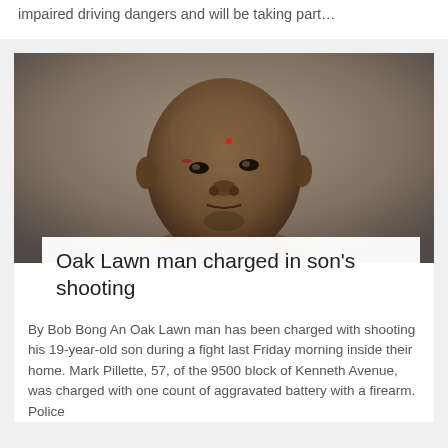impaired driving dangers and will be taking part…
[Figure (photo): Mugshot/booking photo of a middle-aged Black man with a small mark on his forehead, looking directly at camera, against a gray background.]
Oak Lawn man charged in son's shooting
By Bob Bong An Oak Lawn man has been charged with shooting his 19-year-old son during a fight last Friday morning inside their home. Mark Pillette, 57, of the 9500 block of Kenneth Avenue, was charged with one count of aggravated battery with a firearm. Police